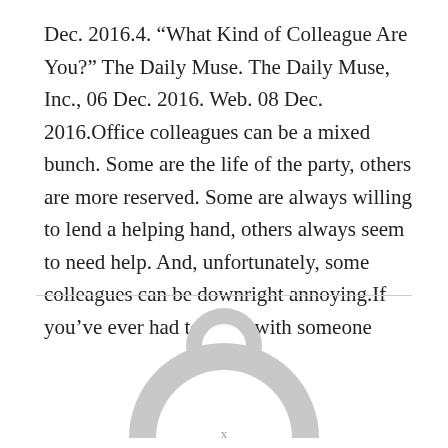Dec. 2016.4. “What Kind of Colleague Are You?” The Daily Muse. The Daily Muse, Inc., 06 Dec. 2016. Web. 08 Dec. 2016.Office colleagues can be a mixed bunch. Some are the life of the party, others are more reserved. Some are always willing to lend a helping hand, others always seem to need help. And, unfortunately, some colleagues can be downright annoying.If you’ve ever had to work with someone
[Figure (illustration): A generic user/avatar placeholder icon: a grey circle forming the head and a grey rounded arc forming the shoulders/body, on a white background.]
x